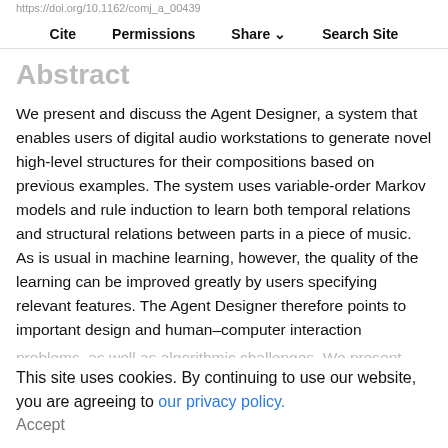https://doi.org/10.1162/comj_a_00439
Cite   Permissions   Share   Search Site
Abstract
We present and discuss the Agent Designer, a system that enables users of digital audio workstations to generate novel high-level structures for their compositions based on previous examples. The system uses variable-order Markov models and rule induction to learn both temporal relations and structural relations between parts in a piece of music. As is usual in machine learning, however, the quality of the learning can be improved greatly by users specifying relevant features. The Agent Designer therefore points to important design and human–computer interaction problems, as well as algorithmic challenges. We present a number of studies that help to understand how effective the Agent Designer is, and privacy policy might design a user interface that best enables users to obtain qualit...
This site uses cookies. By continuing to use our website, you are agreeing to our privacy policy.
Accept